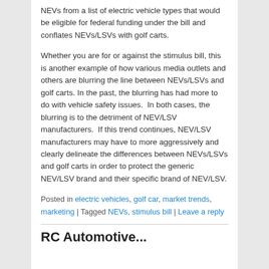NEVs from a list of electric vehicle types that would be eligible for federal funding under the bill and conflates NEVs/LSVs with golf carts.
Whether you are for or against the stimulus bill, this is another example of how various media outlets and others are blurring the line between NEVs/LSVs and golf carts. In the past, the blurring has had more to do with vehicle safety issues. In both cases, the blurring is to the detriment of NEV/LSV manufacturers. If this trend continues, NEV/LSV manufacturers may have to more aggressively and clearly delineate the differences between NEVs/LSVs and golf carts in order to protect the generic NEV/LSV brand and their specific brand of NEV/LSV.
Posted in electric vehicles, golf car, market trends, marketing | Tagged NEVs, stimulus bill | Leave a reply
RC Automotive...